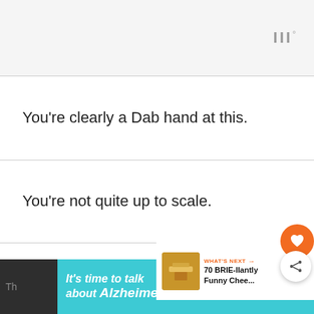WWW°
You're clearly a Dab hand at this.
You're not quite up to scale.
That seems a bit fishy to me.
[Figure (other): What's Next panel with food image thumbnail linking to '70 BRIE-llantly Funny Chee...']
It's time to talk about Alzheimer's. LEARN MORE [Alzheimer's Association logo] WWW°